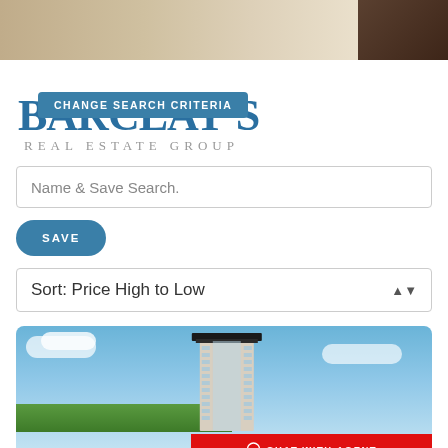[Figure (photo): Top portion of a room interior photo — beige/tan flooring and dark wooden furniture visible at top right]
[Figure (logo): Barclay's Real Estate Group logo in large blue serif letters]
CHANGE SEARCH CRITERIA
Name & Save Search.
SAVE
Sort: Price High to Low
[Figure (photo): Photo of a tall modern condominium tower against a blue sky with green marshland below, and a red 'CHAT WITH AGENT' banner at bottom right]